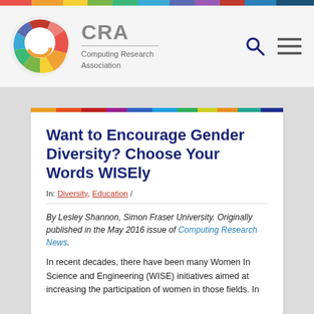[Figure (logo): CRA Computing Research Association logo with colorful circular design and rainbow bar at top]
CRA Computing Research Association
Want to Encourage Gender Diversity? Choose Your Words WISEly
In: Diversity, Education /
By Lesley Shannon, Simon Fraser University. Originally published in the May 2016 issue of Computing Research News.
In recent decades, there have been many Women In Science and Engineering (WISE) initiatives aimed at increasing the participation of women in those fields. In